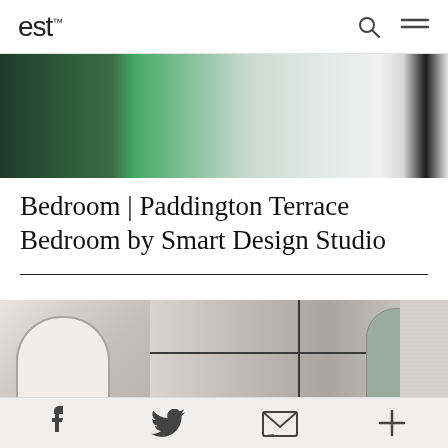est
[Figure (photo): Close-up of a dark green velvet bedspread draped over a bed, with a white bathtub partially visible on the right side and light wood flooring]
Bedroom | Paddington Terrace Bedroom by Smart Design Studio
[Figure (photo): Two-panel interior photo. Left panel shows a curved marble arch niche in a bathroom. Right panel shows a glass shower enclosure with black metal frames, an arched doorway and fluted wall panel.]
Facebook | Twitter | Email | More